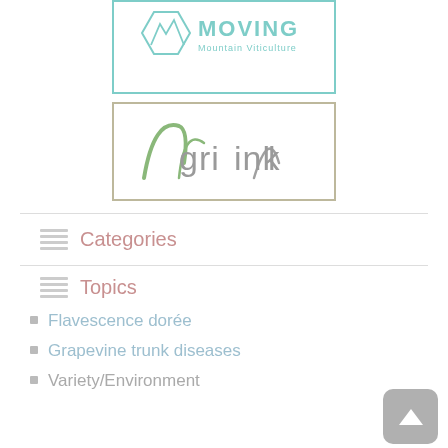[Figure (logo): MOVING Mountain Viticulture logo inside a teal-bordered rectangle. Features a hexagonal mountain icon in teal and the text MOVING in bold teal with Mountain Viticulture subtitle.]
[Figure (logo): AgriLink logo inside a beige-bordered rectangle. Features stylized green and gray leaf/arch shapes forming the letters of AgriLink in gray text.]
Categories
Topics
Flavescence dorée
Grapevine trunk diseases
Variety/Environment